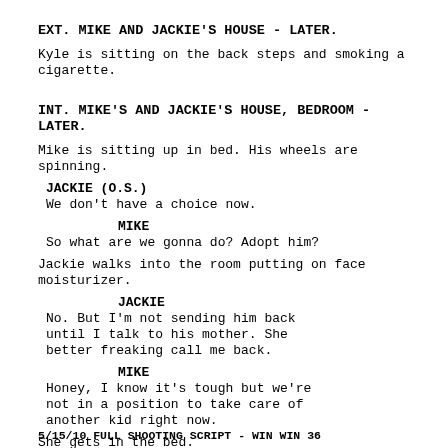EXT. MIKE AND JACKIE'S HOUSE - LATER.
Kyle is sitting on the back steps and smoking a cigarette.
INT. MIKE'S AND JACKIE'S HOUSE, BEDROOM - LATER.
Mike is sitting up in bed. His wheels are spinning.
JACKIE (O.S.)
We don't have a choice now.
MIKE
So what are we gonna do? Adopt him?
Jackie walks into the room putting on face moisturizer.
JACKIE
No. But I'm not sending him back until I talk to his mother. She better freaking call me back.
MIKE
Honey, I know it's tough but we're not in a position to take care of another kid right now.
She gets in the bed.
5/15/10  FULL SHOOTING SCRIPT - WIN WIN 36